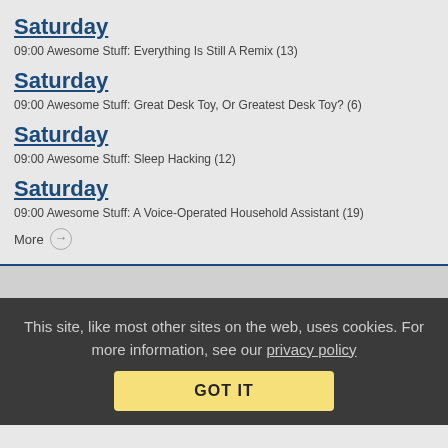Saturday
09:00 Awesome Stuff: Everything Is Still A Remix (13)
Saturday
09:00 Awesome Stuff: Great Desk Toy, Or Greatest Desk Toy? (6)
Saturday
09:00 Awesome Stuff: Sleep Hacking (12)
Saturday
09:00 Awesome Stuff: A Voice-Operated Household Assistant (19)
More →
This site, like most other sites on the web, uses cookies. For more information, see our privacy policy
GOT IT